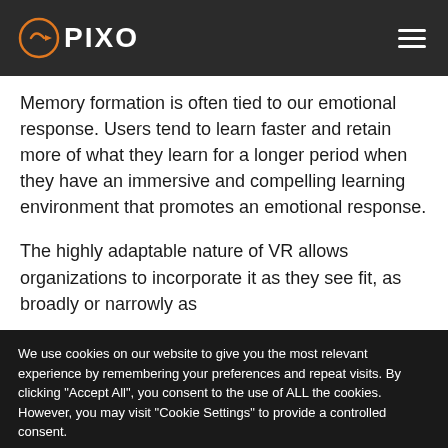PIXO
Memory formation is often tied to our emotional response. Users tend to learn faster and retain more of what they learn for a longer period when they have an immersive and compelling learning environment that promotes an emotional response.
The highly adaptable nature of VR allows organizations to incorporate it as they see fit, as broadly or narrowly as
We use cookies on our website to give you the most relevant experience by remembering your preferences and repeat visits. By clicking “Accept All”, you consent to the use of ALL the cookies. However, you may visit "Cookie Settings" to provide a controlled consent.